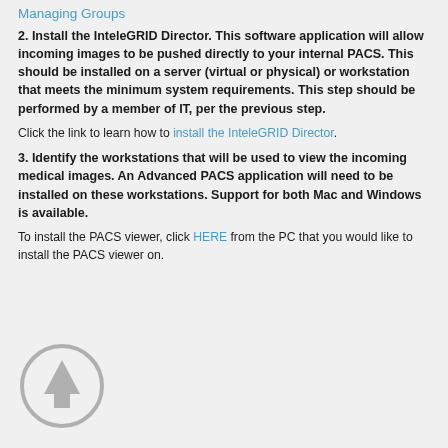Managing Groups
2. Install the InteleGRID Director. This software application will allow incoming images to be pushed directly to your internal PACS. This should be installed on a server (virtual or physical) or workstation that meets the minimum system requirements. This step should be performed by a member of IT, per the previous step.
Click the link to learn how to install the InteleGRID Director.
3. Identify the workstations that will be used to view the incoming medical images. An Advanced PACS application will need to be installed on these workstations. Support for both Mac and Windows is available.
To install the PACS viewer, click HERE from the PC that you would like to install the PACS viewer on.
[Figure (illustration): An upward-pointing arrow icon inside a circle, styled in gray, indicating navigation to top of page.]